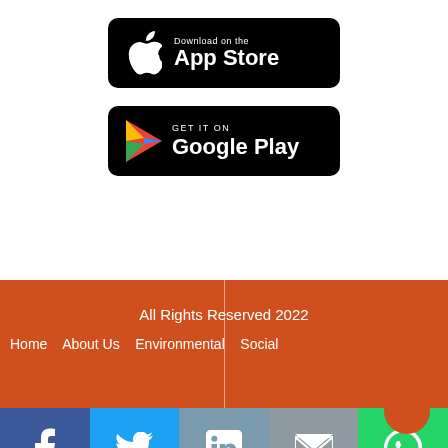[Figure (logo): Download on the App Store button — black rounded rectangle with Apple logo and text 'Download on the App Store']
[Figure (logo): Get it on Google Play button — black rounded rectangle with Google Play triangle logo and text 'GET IT ON Google Play']
All Rights Reserved 2022
Home   About Us   Environmental   Social
[Figure (infographic): Social media share bar at bottom: Facebook (blue), Twitter (light blue), LinkedIn (grey-blue), Email (grey), WhatsApp (green) icons]